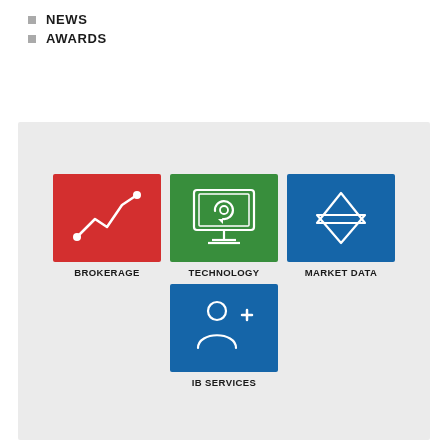NEWS
AWARDS
[Figure (infographic): Grey panel with four colored icon tiles: BROKERAGE (red, line chart icon), TECHNOLOGY (green, computer/monitor with circular arrow icon), MARKET DATA (blue, diamond/arrow shapes icon), IB SERVICES (blue, person with plus icon). Labels below each tile in bold uppercase.]